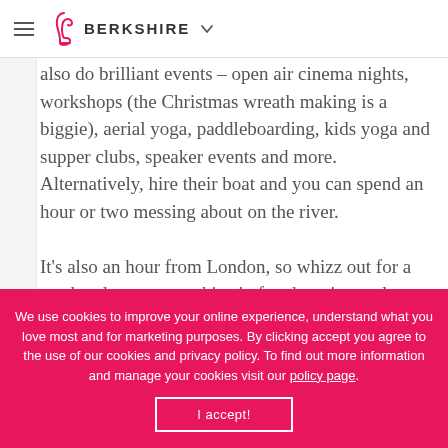BERKSHIRE
also do brilliant events – open air cinema nights, workshops (the Christmas wreath making is a biggie), aerial yoga, paddleboarding, kids yoga and supper clubs, speaker events and more. Alternatively, hire their boat and you can spend an hour or two messing about on the river.

It's also an hour from London, so whizz out for a weekend escape or whizz in for shopping and a culture fix. Room prices from £120.
We use cookies to improve your online experience, understand what you love most and for marketing purposes. By clicking accept you agree to the use of our cookies and privacy policy. To find out more information and manage your cookies visit our policy page.